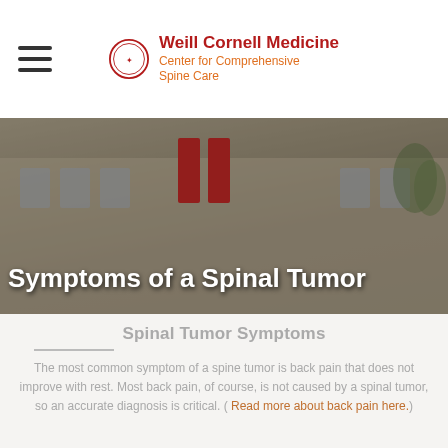Weill Cornell Medicine Center for Comprehensive Spine Care
[Figure (photo): Exterior photo of a medical/academic building with red banners and people walking outside, with text overlay 'Symptoms of a Spinal Tumor']
Symptoms of a Spinal Tumor
Spinal Tumor Symptoms
The most common symptom of a spine tumor is back pain that does not improve with rest. Most back pain, of course, is not caused by a spinal tumor, so an accurate diagnosis is critical. ( Read more about back pain here.)